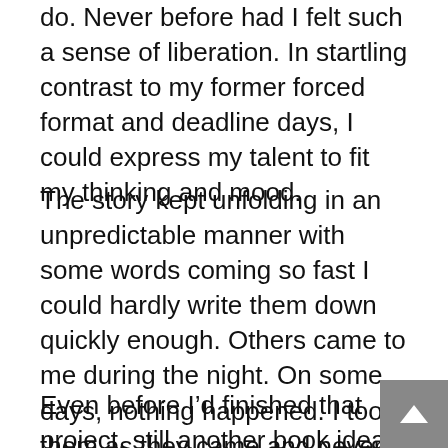do. Never before had I felt such a sense of liberation. In startling contrast to my former forced format and deadline days, I could express my talent to fit my thinking and mood.
The story kept unfolding in an unpredictable manner with some words coming so fast I could hardly write them down quickly enough. Others came to me during the night. On some days, nothing happened. I took them as they came and never stopped until I’d written a second full length novel of more than a hundred thousand words.
Even before I’d finished that project, still another book idea had come to me. I stopped after writing about twenty pages, and asked a few